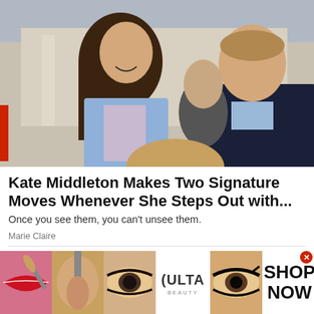[Figure (photo): Photo of Kate Middleton smiling in a light blue blazer alongside Prince William in a dark suit, outdoors at a public event. Other people visible in the background.]
Kate Middleton Makes Two Signature Moves Whenever She Steps Out with...
Once you see them, you can't unsee them.
Marie Claire
[Figure (photo): Ulta Beauty advertisement banner showing beauty/makeup imagery including lips with red lipstick, a makeup brush, smoky eye makeup, the Ulta Beauty logo, and a close-up eye with dramatic eyeliner, with a SHOP NOW call to action.]